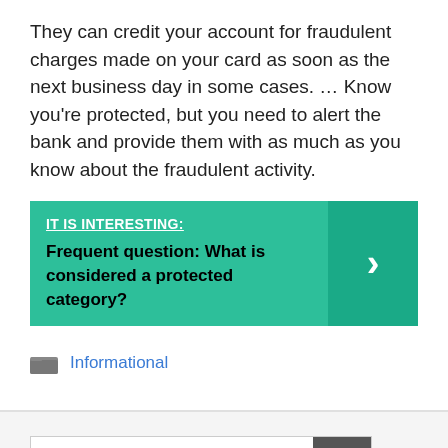They can credit your account for fraudulent charges made on your card as soon as the next business day in some cases. … Know you're protected, but you need to alert the bank and provide them with as much as you know about the fraudulent activity.
[Figure (infographic): Teal call-out box with label 'IT IS INTERESTING:' and text 'Frequent question: What is considered a protected category?' with a right-arrow chevron on the right side.]
Informational
Search